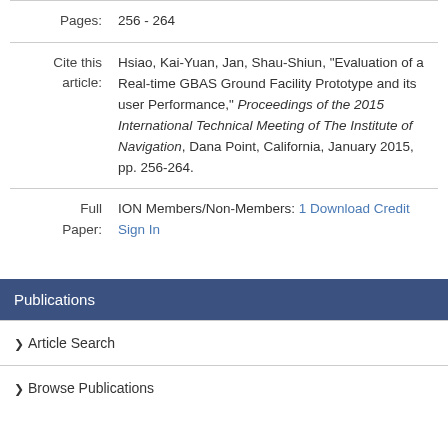| Pages: | 256 - 264 |
| Cite this article: | Hsiao, Kai-Yuan, Jan, Shau-Shiun, "Evaluation of a Real-time GBAS Ground Facility Prototype and its user Performance," Proceedings of the 2015 International Technical Meeting of The Institute of Navigation, Dana Point, California, January 2015, pp. 256-264. |
| Full Paper: | ION Members/Non-Members: 1 Download Credit Sign In |
Publications
Article Search
Browse Publications